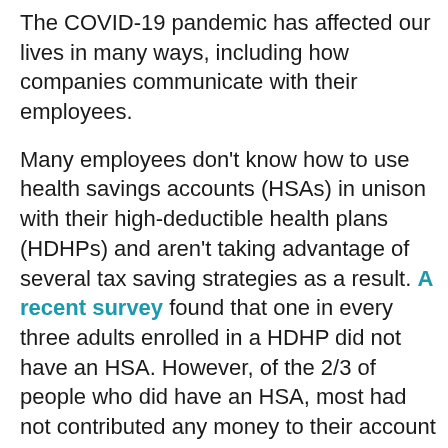The COVID-19 pandemic has affected our lives in many ways, including how companies communicate with their employees.
Many employees don't know how to use health savings accounts (HSAs) in unison with their high-deductible health plans (HDHPs) and aren't taking advantage of several tax saving strategies as a result. A recent survey found that one in every three adults enrolled in a HDHP did not have an HSA. However, of the 2/3 of people who did have an HSA, most had not contributed any money to their account in the last year. The survey identified a lack of education and health insurance literacy as two of the main reasons for people not contributing money.